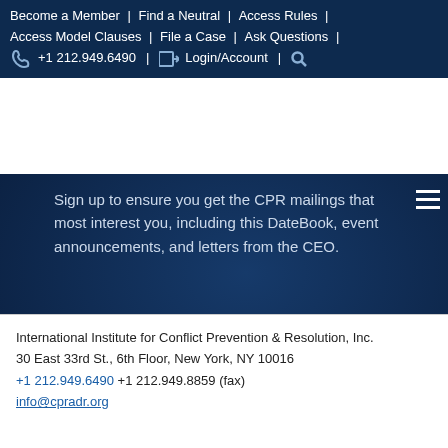Become a Member | Find a Neutral | Access Rules | Access Model Clauses | File a Case | Ask Questions | +1 212.949.6490 | Login/Account | Search
Sign up to ensure you get the CPR mailings that most interest you, including this DateBook, event announcements, and letters from the CEO.
SUBSCRIPTION CENTER
International Institute for Conflict Prevention & Resolution, Inc.
30 East 33rd St., 6th Floor, New York, NY 10016
+1 212.949.6490 +1 212.949.8859 (fax)
info@cpradr.org